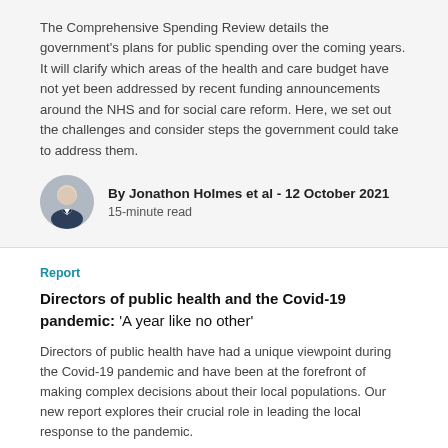The Comprehensive Spending Review details the government's plans for public spending over the coming years. It will clarify which areas of the health and care budget have not yet been addressed by recent funding announcements around the NHS and for social care reform. Here, we set out the challenges and consider steps the government could take to address them.
[Figure (photo): Circular avatar photo of Jonathon Holmes, a man in a suit]
By Jonathon Holmes et al - 12 October 2021
15-minute read
Report
Directors of public health and the Covid-19 pandemic: 'A year like no other'
Directors of public health have had a unique viewpoint during the Covid-19 pandemic and have been at the forefront of making complex decisions about their local populations. Our new report explores their crucial role in leading the local response to the pandemic.